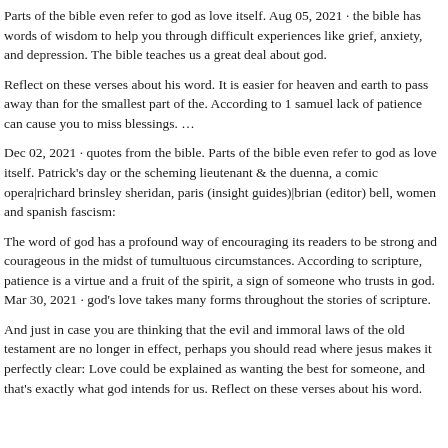Parts of the bible even refer to god as love itself. Aug 05, 2021 · the bible has words of wisdom to help you through difficult experiences like grief, anxiety, and depression. The bible teaches us a great deal about god.
Reflect on these verses about his word. It is easier for heaven and earth to pass away than for the smallest part of the. According to 1 samuel lack of patience can cause you to miss blessings. …
Dec 02, 2021 · quotes from the bible. Parts of the bible even refer to god as love itself. Patrick's day or the scheming lieutenant & the duenna, a comic opera|richard brinsley sheridan, paris (insight guides)|brian (editor) bell, women and spanish fascism:
The word of god has a profound way of encouraging its readers to be strong and courageous in the midst of tumultuous circumstances. According to scripture, patience is a virtue and a fruit of the spirit, a sign of someone who trusts in god. Mar 30, 2021 · god's love takes many forms throughout the stories of scripture.
And just in case you are thinking that the evil and immoral laws of the old testament are no longer in effect, perhaps you should read where jesus makes it perfectly clear: Love could be explained as wanting the best for someone, and that's exactly what god intends for us. Reflect on these verses about his word.